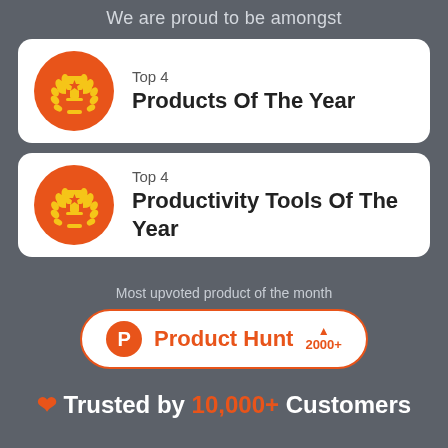We are proud to be amongst
[Figure (infographic): Award card with orange trophy badge icon and text: Top 4 Products Of The Year]
[Figure (infographic): Award card with orange trophy badge icon and text: Top 4 Productivity Tools Of The Year]
Most upvoted product of the month
[Figure (logo): Product Hunt badge with orange P logo, 'Product Hunt' text in orange, and upvote count 2000+]
❤ Trusted by 10,000+ Customers